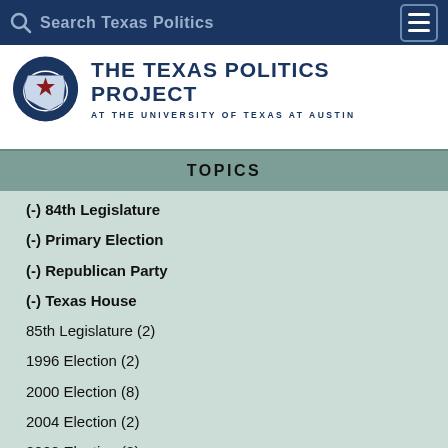Search Texas Politics
[Figure (logo): The Texas Politics Project at the University of Texas at Austin logo with circular Texas star emblem]
TOPICS
(-) 84th Legislature
(-) Primary Election
(-) Republican Party
(-) Texas House
85th Legislature (2)
1996 Election (2)
2000 Election (8)
2004 Election (2)
2008 Election (2)
2012 Election (2)